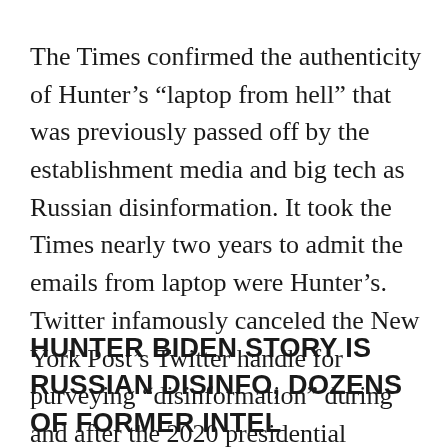The Times confirmed the authenticity of Hunter’s “laptop from hell” that was previously passed off by the establishment media and big tech as Russian disinformation. It took the Times nearly two years to admit the emails from laptop were Hunter’s. Twitter infamously canceled the New York Post’s Twitter handle for purveying “disinformation” during and after the 2020 presidential election.
HUNTER BIDEN STORY IS RUSSIAN DISINFO, DOZENS OF FORMER INTEL OFFICIALS SAY